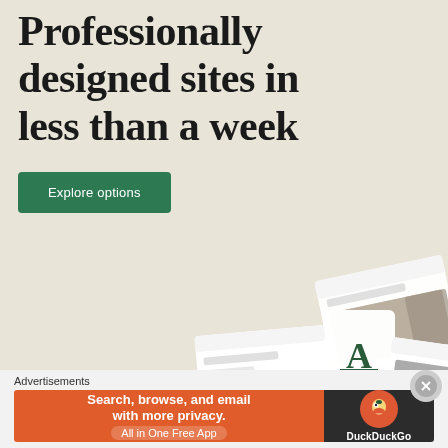Professionally designed sites in less than a week
Explore options
[Figure (screenshot): Mockup of professionally designed website screens showing food/restaurant themed site layouts with photos of food and people]
Advertisements
[Figure (infographic): DuckDuckGo advertisement banner: 'Search, browse, and email with more privacy. All in One Free App' with DuckDuckGo logo on dark right panel]